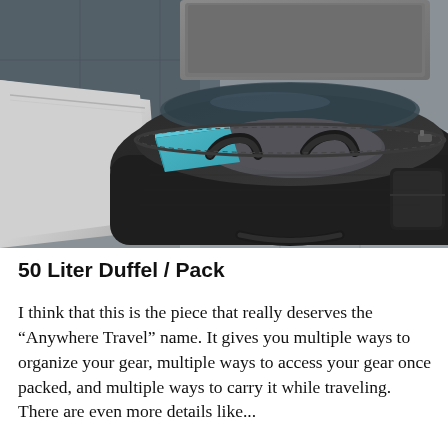[Figure (photo): Overhead/angled photograph of an open black 50-liter duffel bag packed with gear. The bag is unzipped and lying on a tile floor. Inside are visible a blue packing cube, a grey travel pillow, and other items. A silver/grey luggage piece is visible to the left. The bag features dark fabric handles and heavy-duty zippers.]
50 Liter Duffel / Pack
I think that this is the piece that really deserves the “Anywhere Travel” name. It gives you multiple ways to organize your gear, multiple ways to access your gear once packed, and multiple ways to carry it while traveling. There are even more details like...